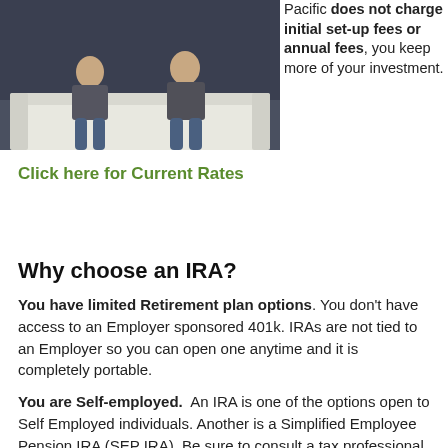[Figure (photo): Two people sitting on a white couch, casual setting]
Pacific does not charge initial set-up fees or annual fees, you keep more of your investment.
Click here for Current Rates
Why choose an IRA?
You have limited Retirement plan options. You don't have access to an Employer sponsored 401k. IRAs are not tied to an Employer so you can open one anytime and it is completely portable.
You are Self-employed. An IRA is one of the options open to Self Employed individuals. Another is a Simplified Employee Pension IRA (SEP IRA). Be sure to consult a tax professional to